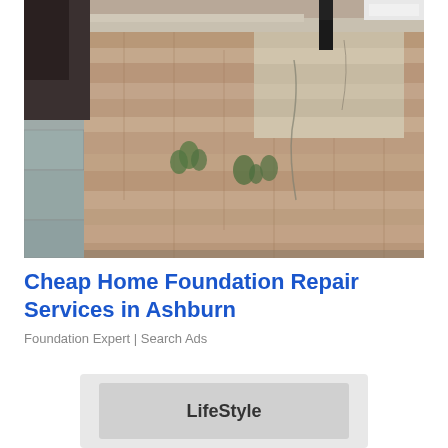[Figure (photo): A crumbling stone and brick foundation wall along a paved sidewalk, with weeds growing through the cracks. The wall shows significant deterioration with displaced and cracked stone blocks.]
Cheap Home Foundation Repair Services in Ashburn
Foundation Expert | Search Ads
[Figure (logo): LifeStyle logo or brand card shown in a light gray rounded rectangle]